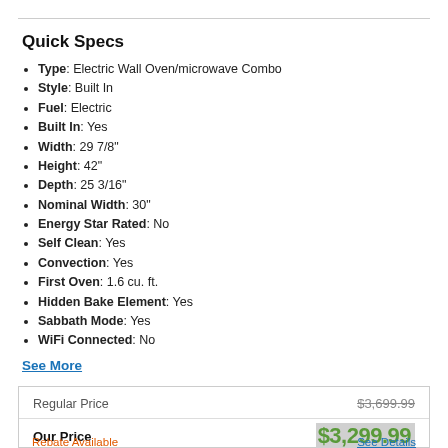Quick Specs
Type: Electric Wall Oven/microwave Combo
Style: Built In
Fuel: Electric
Built In: Yes
Width: 29 7/8"
Height: 42"
Depth: 25 3/16"
Nominal Width: 30"
Energy Star Rated: No
Self Clean: Yes
Convection: Yes
First Oven: 1.6 cu. ft.
Hidden Bake Element: Yes
Sabbath Mode: Yes
WiFi Connected: No
See More
|  | Price |
| --- | --- |
| Regular Price | $3,699.99 |
| Our Price | $3,299.99 |
| Rebate Available | See Details |